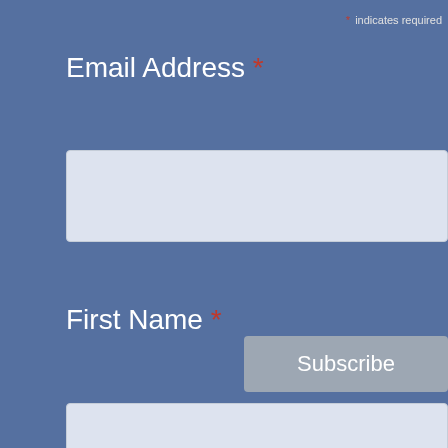* indicates required
Email Address *
First Name *
Last Name *
Subscribe